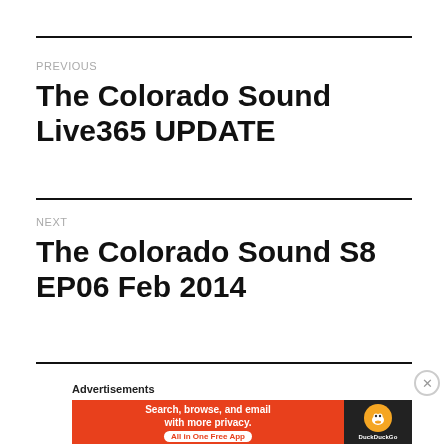PREVIOUS
The Colorado Sound Live365 UPDATE
NEXT
The Colorado Sound S8 EP06 Feb 2014
Advertisements
[Figure (infographic): DuckDuckGo advertisement banner: 'Search, browse, and email with more privacy. All in One Free App' with DuckDuckGo logo on dark background]